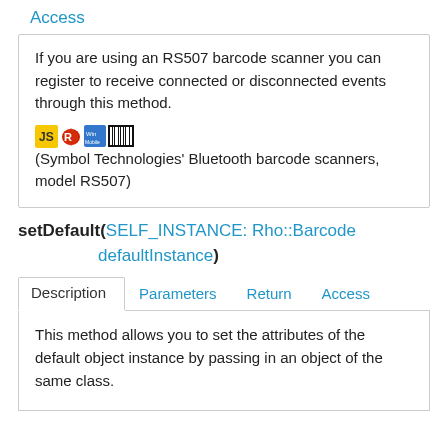Access
If you are using an RS507 barcode scanner you can register to receive connected or disconnected events through this method.
[icons](Symbol Technologies' Bluetooth barcode scanners, model RS507)
setDefault(SELF_INSTANCE: Rho::Barcode defaultInstance)
Description  Parameters  Return  Access
This method allows you to set the attributes of the default object instance by passing in an object of the same class.